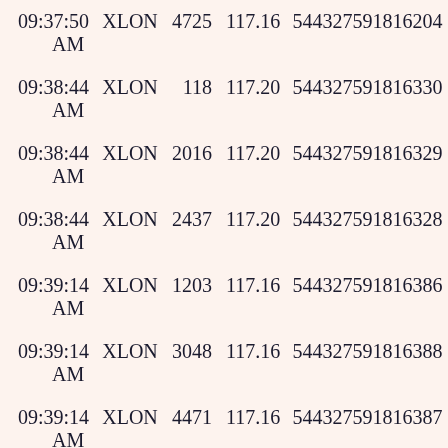| Time | Venue | Qty | Price | ID |
| --- | --- | --- | --- | --- |
| 09:37:50 AM | XLON | 4725 | 117.16 | 544327591816204 |
| 09:38:44 AM | XLON | 118 | 117.20 | 544327591816330 |
| 09:38:44 AM | XLON | 2016 | 117.20 | 544327591816329 |
| 09:38:44 AM | XLON | 2437 | 117.20 | 544327591816328 |
| 09:39:14 AM | XLON | 1203 | 117.16 | 544327591816386 |
| 09:39:14 AM | XLON | 3048 | 117.16 | 544327591816388 |
| 09:39:14 AM | XLON | 4471 | 117.16 | 544327591816387 |
| 09:40:13 AM | XLON | 3161 | 117.14 | 544327591816528 |